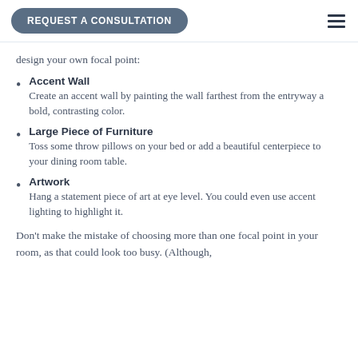REQUEST A CONSULTATION
design your own focal point:
Accent Wall
Create an accent wall by painting the wall farthest from the entryway a bold, contrasting color.
Large Piece of Furniture
Toss some throw pillows on your bed or add a beautiful centerpiece to your dining room table.
Artwork
Hang a statement piece of art at eye level. You could even use accent lighting to highlight it.
Don't make the mistake of choosing more than one focal point in your room, as that could look too busy. (Although,